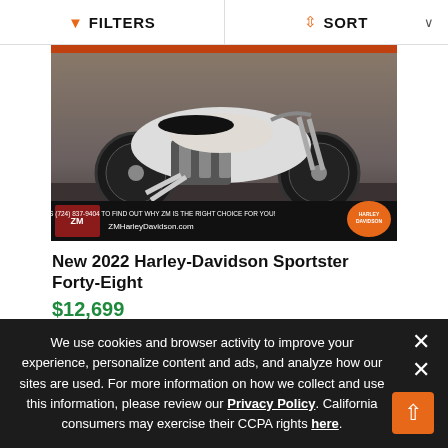FILTERS   SORT
[Figure (photo): Photograph of a white 2022 Harley-Davidson Sportster Forty-Eight motorcycle in a dealership. The bottom of the image shows the ZM Harley-Davidson logo and text: CALL US (724) 837-9404 TO FIND OUT WHY ZM IS THE RIGHT CHOICE FOR YOU! ZMHarleyDavidson.com]
New 2022 Harley-Davidson Sportster Forty-Eight
$12,699
Color   White Sand Pearl
Miles   6
We use cookies and browser activity to improve your experience, personalize content and ads, and analyze how our sites are used. For more information on how we collect and use this information, please review our Privacy Policy. California consumers may exercise their CCPA rights here.